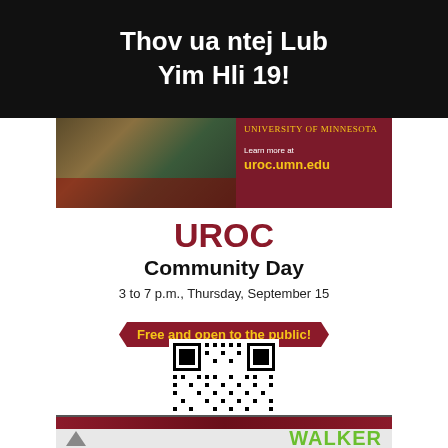[Figure (photo): Top photo strip showing people, with green/yellow highlighted border at bottom]
Thov ua ntej Lub Yim Hli 19!
[Figure (photo): University of Minnesota UROC building banner with dark red right panel showing 'UNIVERSITY OF MINNESOTA' and 'Learn more at uroc.umn.edu']
UROC Community Day
3 to 7 p.m., Thursday, September 15
Free and open to the public!
[Figure (other): QR code for UROC Community Day registration]
[Figure (photo): Dark red/maroon horizontal bar]
WALKER